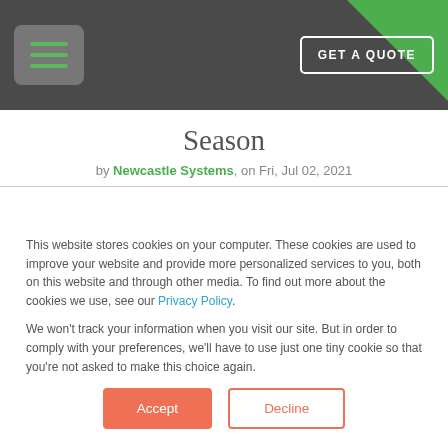GET A QUOTE
Season
by Newcastle Systems, on Fri, Jul 02, 2021
This website stores cookies on your computer. These cookies are used to improve your website and provide more personalized services to you, both on this website and through other media. To find out more about the cookies we use, see our Privacy Policy.
We won't track your information when you visit our site. But in order to comply with your preferences, we'll have to use just one tiny cookie so that you're not asked to make this choice again.
Accept  Decline